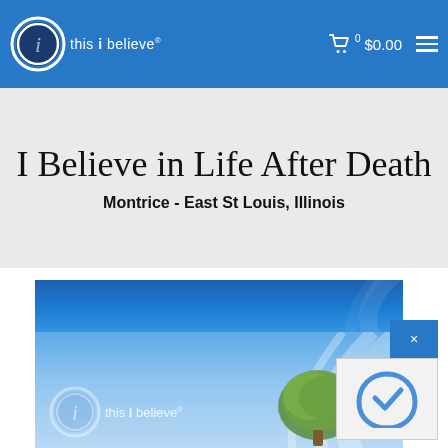this i believe — $0.00
I Believe in Life After Death
Montrice - East St Louis, Illinois
[Figure (screenshot): This I Believe website banner with logo circle, blue gradient background, swirl design, tree graphic, and 'this i believe' text overlay]
[Figure (screenshot): Blue close (x) button from a popup overlay]
[Figure (screenshot): reCAPTCHA widget box]